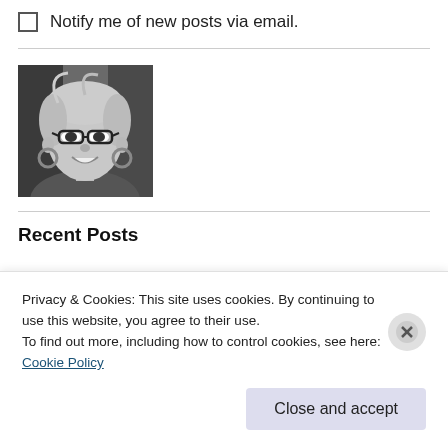Notify me of new posts via email.
[Figure (photo): Black and white portrait photo of a smiling woman with short blonde hair, glasses, and hoop earrings.]
Recent Posts
Privacy & Cookies: This site uses cookies. By continuing to use this website, you agree to their use.
To find out more, including how to control cookies, see here: Cookie Policy